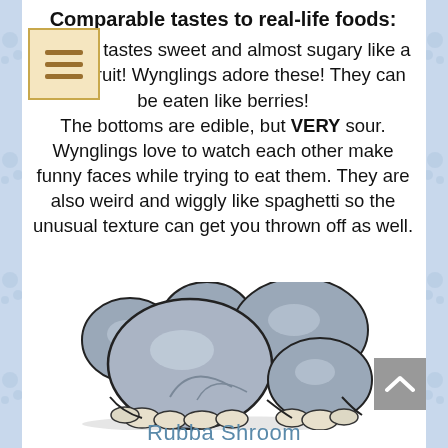Comparable tastes to real-life foods:
The top tastes sweet and almost sugary like a tangy fruit! Wynglings adore these! They can be eaten like berries! The bottoms are edible, but VERY sour. Wynglings love to watch each other make funny faces while trying to eat them. They are also weird and wiggly like spaghetti so the unusual texture can get you thrown off as well.
[Figure (illustration): A cartoon illustration of a cluster of grey rounded mushrooms (Rubba Shroom) with shiny highlights, bulbous caps, and wiggly bottom tendrils, drawn in a cute fantasy style.]
Rubba Shroom